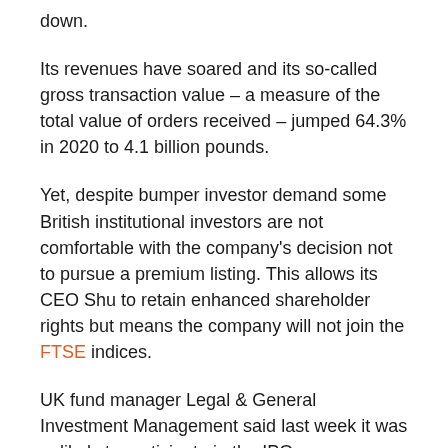down.
Its revenues have soared and its so-called gross transaction value – a measure of the total value of orders received – jumped 64.3% in 2020 to 4.1 billion pounds.
Yet, despite bumper investor demand some British institutional investors are not comfortable with the company's decision not to pursue a premium listing. This allows its CEO Shu to retain enhanced shareholder rights but means the company will not join the FTSE indices.
UK fund manager Legal & General Investment Management said last week it was unlikely to participate in the IPO.